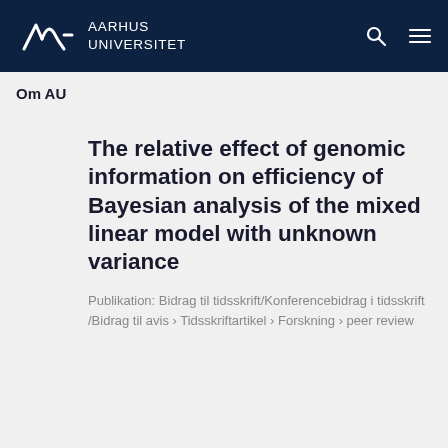AARHUS UNIVERSITET
Om AU
The relative effect of genomic information on efficiency of Bayesian analysis of the mixed linear model with unknown variance
Publikation: Bidrag til tidsskrift/Konferencebidrag i tidsskrift /Bidrag til avis › Tidsskriftartikel › Forskning › peer review